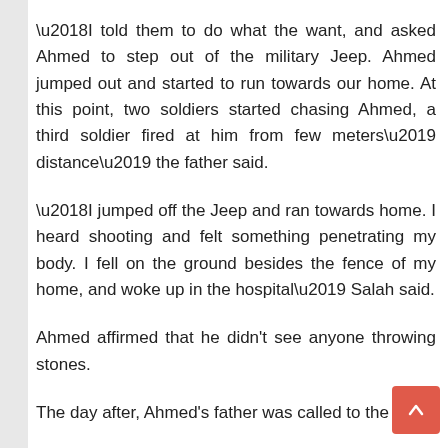‘I told them to do what the want, and asked Ahmed to step out of the military Jeep. Ahmed jumped out and started to run towards our home. At this point, two soldiers started chasing Ahmed, a third soldier fired at him from few meters’ distance’ the father said.
‘I jumped off the Jeep and ran towards home. I heard shooting and felt something penetrating my body. I fell on the ground besides the fence of my home, and woke up in the hospital’ Salah said.
Ahmed affirmed that he didn’t see anyone throwing stones.
The day after, Ahmed’s father was called to the